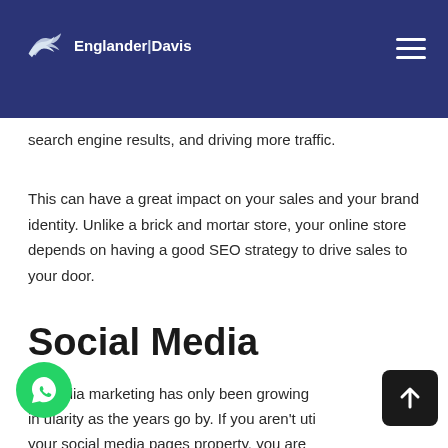Englander Davis
search engine results, and driving more traffic.
This can have a great impact on your sales and your brand identity. Unlike a brick and mortar store, your online store depends on having a good SEO strategy to drive sales to your door.
Social Media
al media marketing has only been growing in ularity as the years go by. If you aren't uti your social media pages property, you are missing